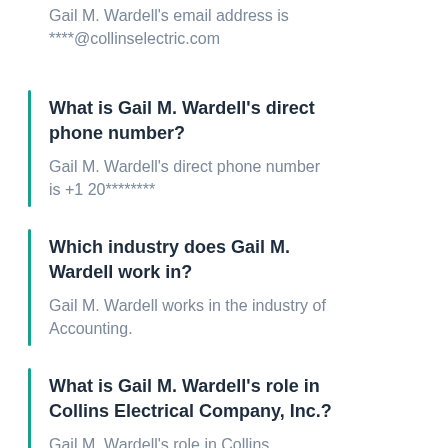Gail M. Wardell's email address is ****@collinselectric.com
What is Gail M. Wardell's direct phone number?
Gail M. Wardell's direct phone number is +1 20********
Which industry does Gail M. Wardell work in?
Gail M. Wardell works in the industry of Accounting.
What is Gail M. Wardell's role in Collins Electrical Company, Inc.?
Gail M. Wardell's role in Collins